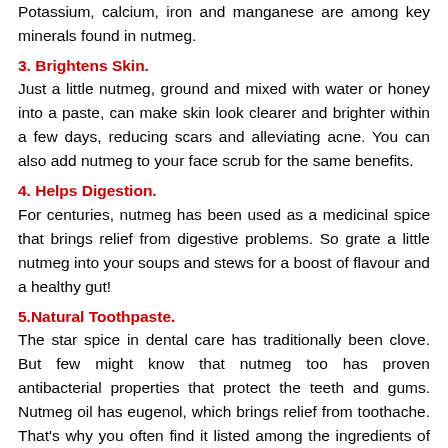Potassium, calcium, iron and manganese are among key minerals found in nutmeg.
3. Brightens Skin.
Just a little nutmeg, ground and mixed with water or honey into a paste, can make skin look clearer and brighter within a few days, reducing scars and alleviating acne. You can also add nutmeg to your face scrub for the same benefits.
4. Helps Digestion.
For centuries, nutmeg has been used as a medicinal spice that brings relief from digestive problems. So grate a little nutmeg into your soups and stews for a boost of flavour and a healthy gut!
5.Natural Toothpaste.
The star spice in dental care has traditionally been clove. But few might know that nutmeg too has proven antibacterial properties that protect the teeth and gums. Nutmeg oil has eugenol, which brings relief from toothache. That's why you often find it listed among the ingredients of toothpaste. Combined with cinnamon, it makes a powerful antiseptic, antimicrobial paste.
6. Protects Your Brain.
Nutmeg keeps the brain sharp! It contains natural organic compounds called myristicin and macelignan, which is known to shield your brain against degenerative disease such as Alzheimer's.